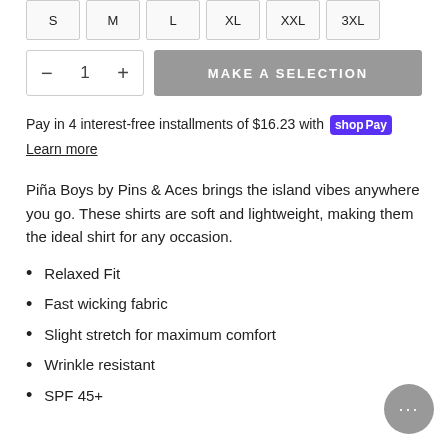| S | M | L | XL | XXL | 3XL |
— 1 + MAKE A SELECTION
Pay in 4 interest-free installments of $16.23 with shopPay
Learn more
Piña Boys by Pins & Aces brings the island vibes anywhere you go. These shirts are soft and lightweight, making them the ideal shirt for any occasion.
Relaxed Fit
Fast wicking fabric
Slight stretch for maximum comfort
Wrinkle resistant
SPF 45+